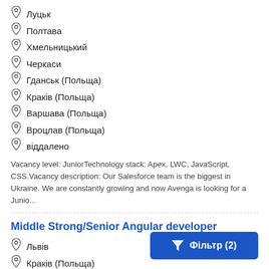Луцьк
Полтава
Хмельницький
Черкаси
Гданськ (Польща)
Краків (Польща)
Варшава (Польща)
Вроцлав (Польща)
віддалено
Vacancy level: JuniorTechnology stack: Apex, LWC, JavaScript, CSS.Vacancy description: Our Salesforce team is the biggest in Ukraine. We are constantly growing and now Avenga is looking for a Junio...
Middle Strong/Senior Angular developer
Львів
Краків (Польща)
віддалено